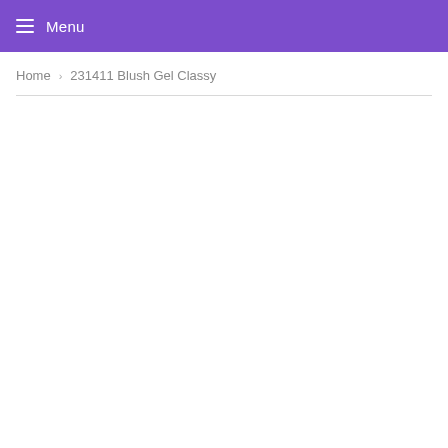Menu
Home › 231411 Blush Gel Classy